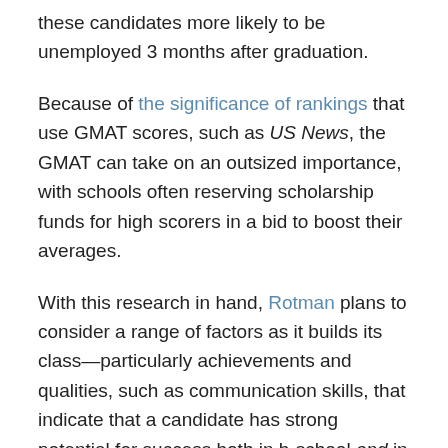experienced proved to be a warning sign, with these candidates more likely to be unemployed 3 months after graduation.
Because of the significance of rankings that use GMAT scores, such as US News, the GMAT can take on an outsized importance, with schools often reserving scholarship funds for high scorers in a bid to boost their averages.
With this research in hand, Rotman plans to consider a range of factors as it builds its class—particularly achievements and qualities, such as communication skills, that indicate that a candidate has strong potential for success both in b-school and in his/her future career. While Rotman will continue to use the